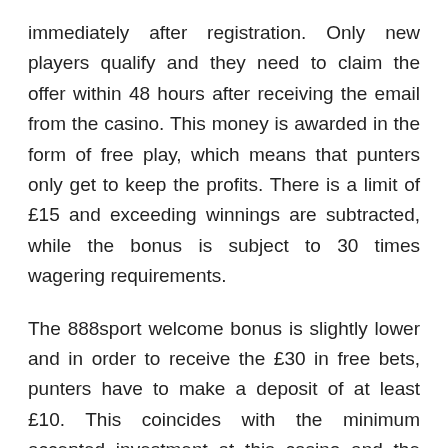immediately after registration. Only new players qualify and they need to claim the offer within 48 hours after receiving the email from the casino. This money is awarded in the form of free play, which means that punters only get to keep the profits. There is a limit of £15 and exceeding winnings are subtracted, while the bonus is subject to 30 times wagering requirements.
The 888sport welcome bonus is slightly lower and in order to receive the £30 in free bets, punters have to make a deposit of at least £10. This coincides with the minimum accepted investment at this casino and the next step is to bet this amount on any of the sports available. Players should keep in mind that in order to receive the subsequent free bets worth £30, they need